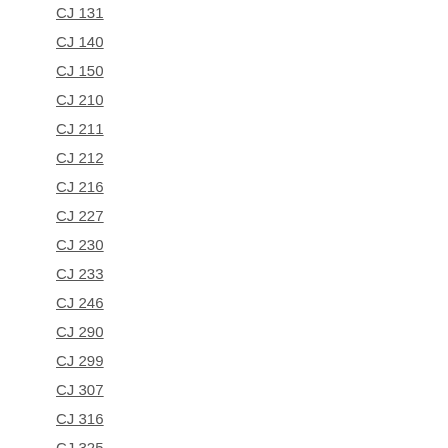CJ 131
CJ 140
CJ 150
CJ 210
CJ 211
CJ 212
CJ 216
CJ 227
CJ 230
CJ 233
CJ 246
CJ 290
CJ 299
CJ 307
CJ 316
CJ 325
CJ 328
CJ 333
CJ 335